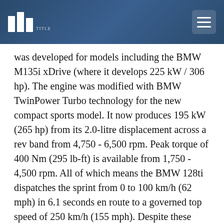was developed for models including the BMW M135i xDrive (where it develops 225 kW / 306 hp). The engine was modified with BMW TwinPower Turbo technology for the new compact sports model. It now produces 195 kW (265 hp) from its 2.0-litre displacement across a rev band from 4,750 - 6,500 rpm. Peak torque of 400 Nm (295 lb-ft) is available from 1,750 - 4,500 rpm. All of which means the BMW 128ti dispatches the sprint from 0 to 100 km/h (62 mph) in 6.1 seconds en route to a governed top speed of 250 km/h (155 mph). Despite these sporty performance figures, the 128ti burns just 6.4 - 6.1 litres of fuel per 100 kilometres [44.1 - 46.3 mpg imp] and emits just 148 - 139 grams of CO2 per kilometre. This enables it to meet the Euro 6d exhaust standard. The standard Active Sound Design (ASD) provides specific amplification of the authentic engine sound and adapts it judiciously to the character of the